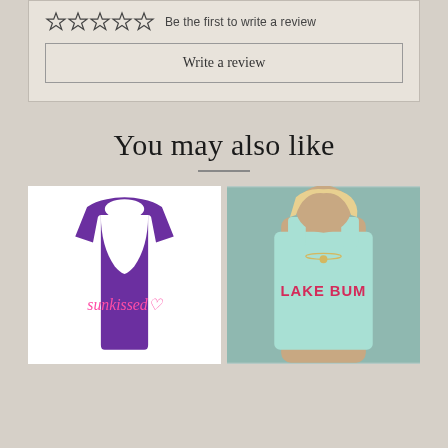[Figure (screenshot): Review section with 5 empty stars and 'Be the first to write a review' text, plus a 'Write a review' button]
You may also like
[Figure (photo): Purple racerback tank top with pink 'sunkissed' script and heart graphic]
[Figure (photo): Woman wearing mint/aqua tank top with 'LAKE BUM' text in pink collegiate lettering]